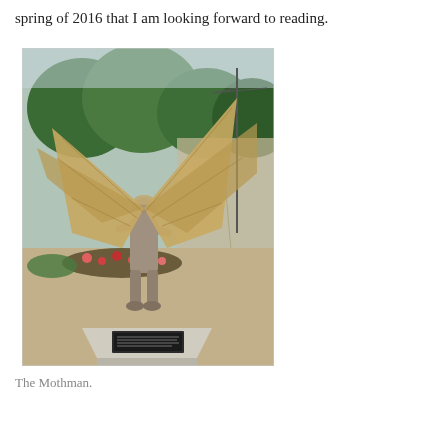spring of 2016 that I am looking forward to reading.
[Figure (photo): Outdoor photograph of the Mothman statue — a winged humanoid bronze sculpture standing on a pyramidal pedestal with a plaque, surrounded by flower beds, with trees and a street visible in the background.]
The Mothman.